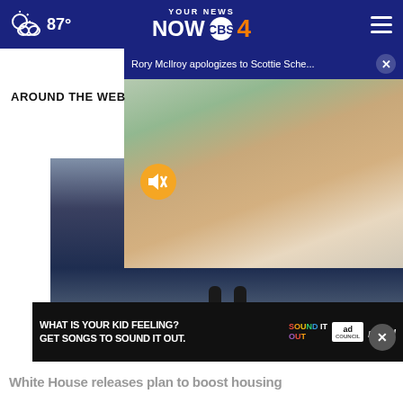87° YOUR NEWS NOW CBS 4
Rory McIlroy apologizes to Scottie Sche... ×
AROUND THE WEB
[Figure (photo): Video player showing golf players, with mute button overlay]
[Figure (photo): Close-up photo of President Biden speaking at microphones, gesturing with hands]
[Figure (photo): Advertisement banner: WHAT IS YOUR KID FEELING? GET SONGS TO SOUND IT OUT. Sound It Out / Ad Council / pivotal]
White House releases plan to boost housing